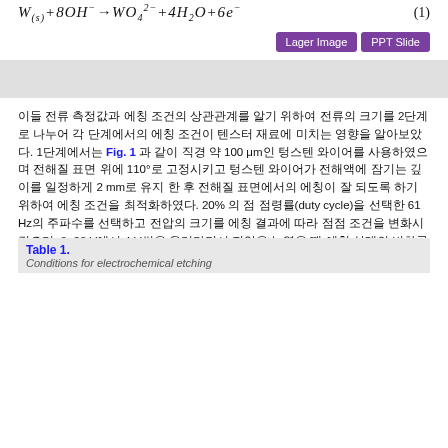[Figure (other): Gray placeholder image box]
[Korean text describing electrochemical etching conditions: 100 μm wire, 110°, 2 mm immersion depth, 20% duty cycle, 61 Hz frequency, 8~28 V with 4 V increment (Table 1)]
Table 1. Conditions for electrochemical etching
|  |  |  |
| --- | --- | --- |
| Duty cycle |  | 20% |
| NaOH concentration |  | 4 M |
| For cantilever | Voltage | 8~28 V with 4 V increment |
|  | Frequency | 61 Hz |
|  | Immersion depth | 2 mm from surface of electrolyte |
|  | Voltage | 4~8 V with 2 V increment |